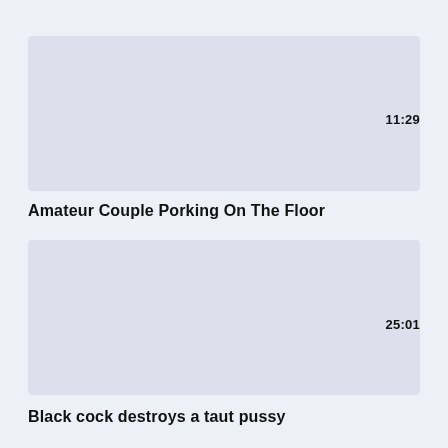11:29
Amateur Couple Porking On The Floor
25:01
Black cock destroys a taut pussy